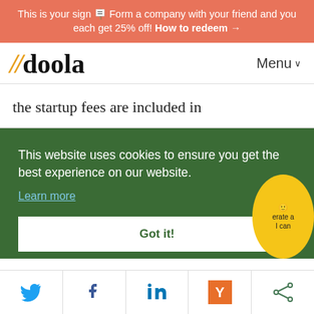This is your sign 🪧 Form a company with your friend and you each get 25% off! How to redeem →
[Figure (logo): doola logo with orange double slash and bold serif wordmark, Menu dropdown button on right]
the startup fees are included in
This website uses cookies to ensure you get the best experience on our website. Learn more
Got it!
[Figure (infographic): Social sharing bar with Twitter, Facebook, LinkedIn, Y Combinator, and general share icons]